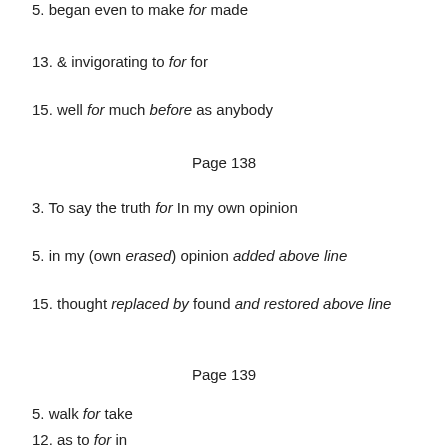5. began even to make for made
13. & invigorating to for for
15. well for much before as anybody
Page 138
3. To say the truth for In my own opinion
5. in my (own erased) opinion added above line
15. thought replaced by found and restored above line
Page 139
5. walk for take
12. as to for in